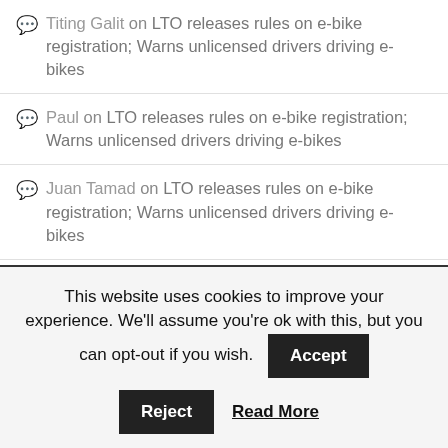Titing Galit on LTO releases rules on e-bike registration; Warns unlicensed drivers driving e-bikes
Paul on LTO releases rules on e-bike registration; Warns unlicensed drivers driving e-bikes
Juan Tamad on LTO releases rules on e-bike registration; Warns unlicensed drivers driving e-bikes
Jason on LTO releases rules on e-bike registration; Warns unlicensed drivers driving e-bikes
ejutz on LTO releases rules on e-bike registration; Warns
This website uses cookies to improve your experience. We'll assume you're ok with this, but you can opt-out if you wish. Accept Reject Read More